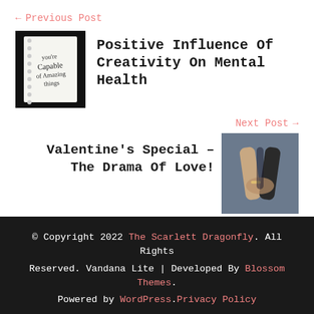← Previous Post
[Figure (photo): Black and white photo of a spiral notebook with handwritten inspirational text]
Positive Influence Of Creativity On Mental Health
Next Post →
[Figure (photo): Photo of two people holding hands outdoors]
Valentine's Special – The Drama Of Love!
© Copyright 2022 The Scarlett Dragonfly. All Rights Reserved. Vandana Lite | Developed By Blossom Themes. Powered by WordPress.Privacy Policy